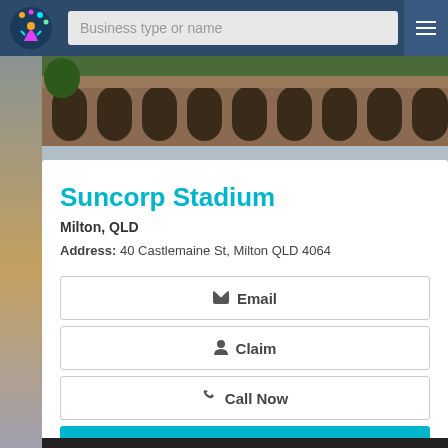Business type or name
[Figure (photo): Photo of Suncorp Stadium building exterior showing Gothic-style arched architecture]
Suncorp Stadium
Milton, QLD
Address: 40 Castlemaine St, Milton QLD 4064
Email
Claim
Call Now
View Details